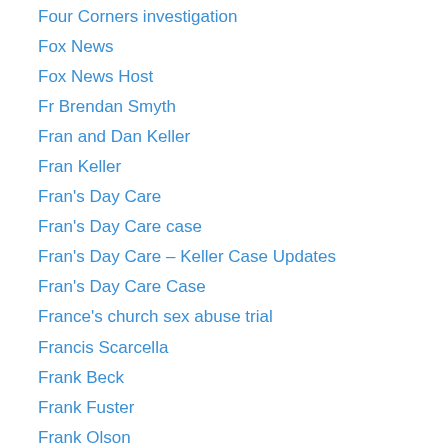Four Corners investigation
Fox News
Fox News Host
Fr Brendan Smyth
Fran and Dan Keller
Fran Keller
Fran's Day Care
Fran's Day Care case
Fran's Day Care – Keller Case Updates
Fran's Day Care Case
France's church sex abuse trial
Francis Scarcella
Frank Beck
Frank Fuster
Frank Olson
Frank Scotti
Franklin Cover-up
fraternities
fraternity allegations
fraternity hazing